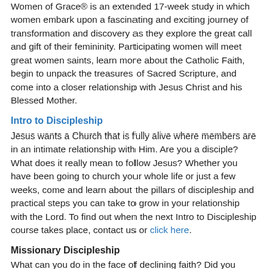Women of Grace® is an extended 17-week study in which women embark upon a fascinating and exciting journey of transformation and discovery as they explore the great call and gift of their femininity. Participating women will meet great women saints, learn more about the Catholic Faith, begin to unpack the treasures of Sacred Scripture, and come into a closer relationship with Jesus Christ and his Blessed Mother.
Intro to Discipleship
Jesus wants a Church that is fully alive where members are in an intimate relationship with Him. Are you a disciple? What does it really mean to follow Jesus? Whether you have been going to church your whole life or just a few weeks, come and learn about the pillars of discipleship and practical steps you can take to grow in your relationship with the Lord. To find out when the next Intro to Discipleship course takes place, contact us or click here.
Missionary Discipleship
What can you do in the face of declining faith? Did you know that we are all called to be missionaries? Many say, "I thought being a missionary meant serving or preaching in other countries." Yes, but we also need missionaries right here! We need people whose lives have been changed by God and whose goal it is to reach out to